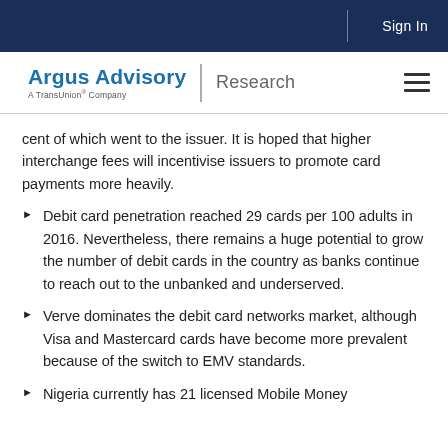Sign In
[Figure (logo): Argus Advisory Research logo - A TransUnion Company]
cent of which went to the issuer. It is hoped that higher interchange fees will incentivise issuers to promote card payments more heavily.
Debit card penetration reached 29 cards per 100 adults in 2016. Nevertheless, there remains a huge potential to grow the number of debit cards in the country as banks continue to reach out to the unbanked and underserved.
Verve dominates the debit card networks market, although Visa and Mastercard cards have become more prevalent because of the switch to EMV standards.
Nigeria currently has 21 licensed Mobile Money